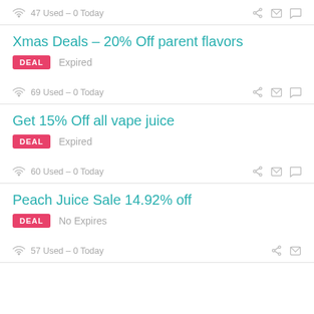47 Used - 0 Today
Xmas Deals – 20% Off parent flavors
DEAL  Expired
69 Used - 0 Today
Get 15% Off all vape juice
DEAL  Expired
60 Used - 0 Today
Peach Juice Sale 14.92% off
DEAL  No Expires
57 Used - 0 Today